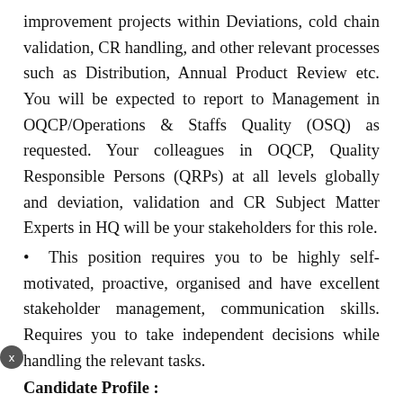improvement projects within Deviations, cold chain validation, CR handling, and other relevant processes such as Distribution, Annual Product Review etc. You will be expected to report to Management in OQCP/Operations & Staffs Quality (OSQ) as requested. Your colleagues in OQCP, Quality Responsible Persons (QRPs) at all levels globally and deviation, validation and CR Subject Matter Experts in HQ will be your stakeholders for this role.
• This position requires you to be highly self-motivated, proactive, organised and have excellent stakeholder management, communication skills. Requires you to take independent decisions while handling the relevant tasks.
Candidate Profile :